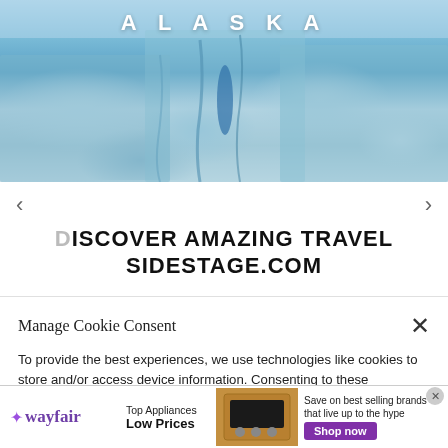[Figure (photo): Glacier/ice wall photo with ALASKA text overlay at top]
DISCOVER AMAZING TRAVEL SIDESTAGE.COM
Manage Cookie Consent
To provide the best experiences, we use technologies like cookies to store and/or access device information. Consenting to these technologies will allow us to process data such as browsing behavior or unique IDs on this site. Not consenting or withdrawing consent, may adversely affect certain features and functions.
[Figure (screenshot): Wayfair advertisement banner: Top Appliances Low Prices, Save on best selling brands that live up to the hype, Shop now button]